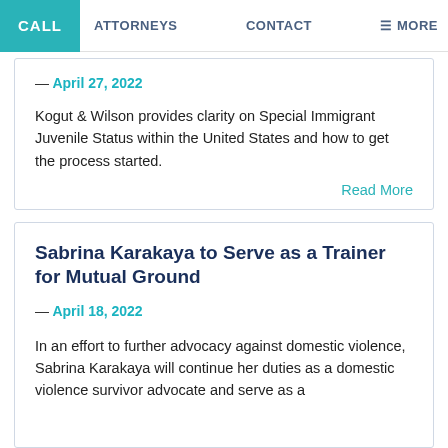CALL  ATTORNEYS  CONTACT  ≡ MORE
— April 27, 2022
Kogut & Wilson provides clarity on Special Immigrant Juvenile Status within the United States and how to get the process started.
Read More
Sabrina Karakaya to Serve as a Trainer for Mutual Ground
— April 18, 2022
In an effort to further advocacy against domestic violence, Sabrina Karakaya will continue her duties as a domestic violence survivor advocate and serve as a